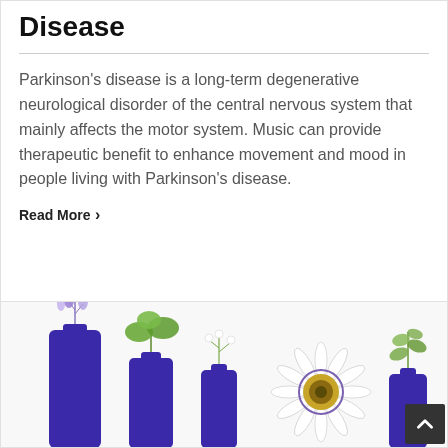Disease
Parkinson's disease is a long-term degenerative neurological disorder of the central nervous system that mainly affects the motor system. Music can provide therapeutic benefit to enhance movement and mood in people living with Parkinson's disease.
Read More >
[Figure (photo): Blue glass bottles of varying heights with different plants and flowers growing from them, including lavender, green herbs, small white flowers, a passion flower, and leafy sprigs, arranged against a white background.]